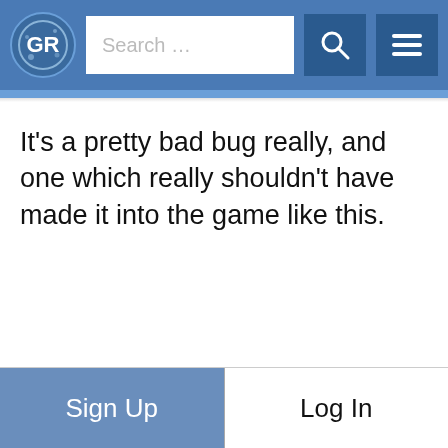GR Search ...
It's a pretty bad bug really, and one which really shouldn't have made it into the game like this.
Sign Up  Log In